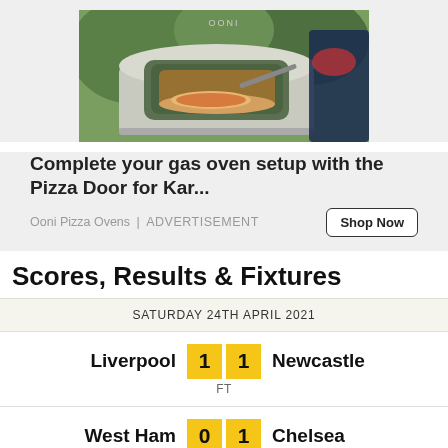[Figure (photo): Photo of a pizza oven (Ooni brand) with a pizza being placed inside, outdoor setting with green foliage in background]
Complete your gas oven setup with the Pizza Door for Kar...
Ooni Pizza Ovens | ADVERTISEMENT
Shop Now
Scores, Results & Fixtures
SATURDAY 24TH APRIL 2021
| Home | Score |  | Away | Status |
| --- | --- | --- | --- | --- |
| Liverpool | 1 | 1 | Newcastle | FT |
| West Ham | 0 | 1 | Chelsea |  |
FT